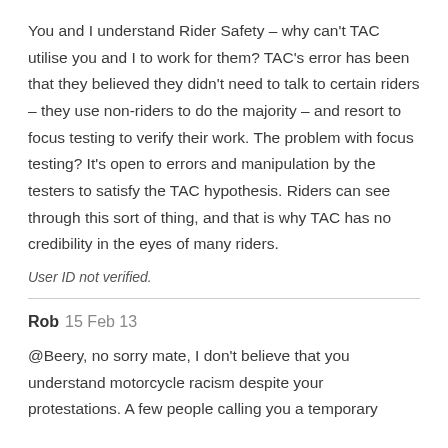You and I understand Rider Safety – why can't TAC utilise you and I to work for them? TAC's error has been that they believed they didn't need to talk to certain riders – they use non-riders to do the majority – and resort to focus testing to verify their work. The problem with focus testing? It's open to errors and manipulation by the testers to satisfy the TAC hypothesis. Riders can see through this sort of thing, and that is why TAC has no credibility in the eyes of many riders.
User ID not verified.
Rob 15 Feb 13
@Beery, no sorry mate, I don't believe that you understand motorcycle racism despite your protestations. A few people calling you a temporary